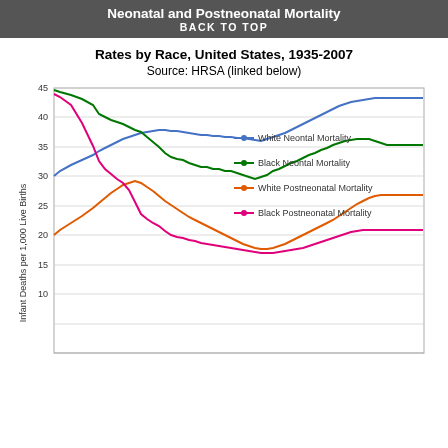Neonatal and Postneonatal Mortality
BACK TO TOP
Rates by Race, United States, 1935-2007
Source: HRSA (linked below)
[Figure (line-chart): Line chart showing four trend lines from 1935 to 2007. Black Neonatal Mortality starts ~44, White Neonatal Mortality starts ~31, Black Postneonatal Mortality starts ~43, White Postneonatal Mortality starts ~21. All decline over time. By 2007 Black Neonatal is ~9, others are lower.]